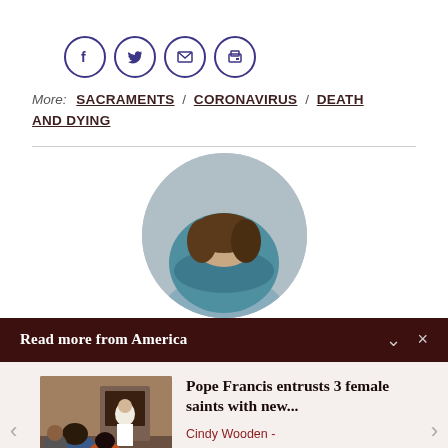[Figure (other): Four social sharing icon buttons in circles: Facebook (f), Twitter (bird), Email (envelope), Print (printer)]
More: SACRAMENTS / CORONAVIRUS / DEATH AND DYING
[Figure (photo): Circular cropped photo of a person with dark hair resting their head on their arms, wearing a teal/blue top]
Read more from America
[Figure (photo): Thumbnail photo of Pope Francis meeting with a group of people in a room]
Pope Francis entrusts 3 female saints with new...
Cindy Wooden - Catholic News Service